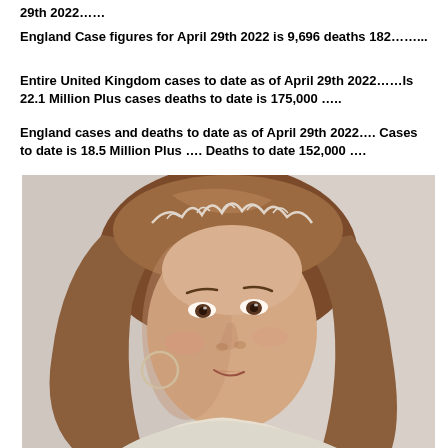29th 2022……
England Case figures for April 29th 2022 is 9,696 deaths 182……..
Entire United Kingdom cases to date as of April 29th 2022……Is 22.1 Million Plus cases deaths to date is 175,000 …..
England cases and deaths to date as of April 29th 2022…. Cases to date is 18.5 Million Plus …. Deaths to date 152,000 ….
[Figure (photo): Portrait photo of a woman with long auburn/brown hair wearing a decorative tiara headband and hoop earrings, wearing a light-colored top, looking slightly downward with a subtle smile against a light background.]